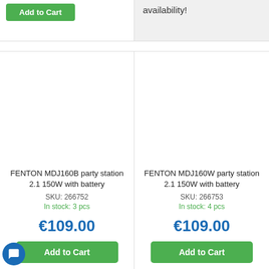[Figure (other): Green Add to Cart button (partially visible) in top-left product card]
availability!
FENTON MDJ160B party station 2.1 150W with battery
SKU: 266752
In stock: 3 pcs
€109.00
Add to Cart
FENTON MDJ160W party station 2.1 150W with battery
SKU: 266753
In stock: 4 pcs
€109.00
Add to Cart